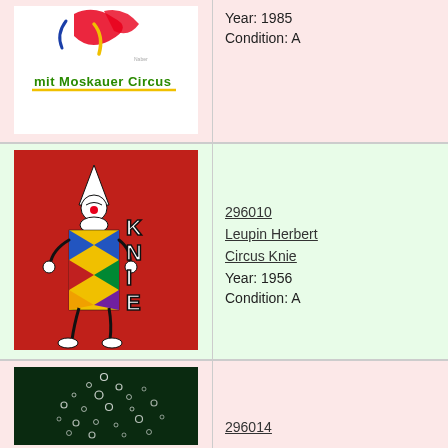[Figure (illustration): Circus poster with colorful abstract figure and text 'mit Moskauer Circus' in green on white/yellow background with red abstract shapes]
Year: 1985
Condition: A
[Figure (illustration): Circus Knie poster on red background featuring a harlequin clown figure with the text 'KNIE' in bold white letters]
296010
Leupin Herbert
Circus Knie
Year: 1956
Condition: A
[Figure (photo): Dark green background with white circular bubble/dot pattern suggesting a circus or night scene]
296014